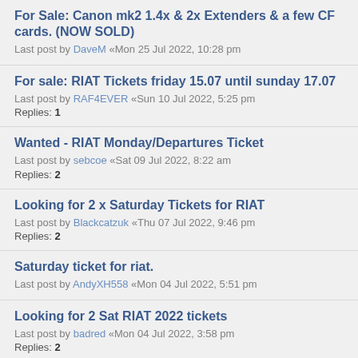For Sale: Canon mk2 1.4x & 2x Extenders & a few CF cards. (NOW SOLD)
Last post by DaveM «Mon 25 Jul 2022, 10:28 pm
For sale: RIAT Tickets friday 15.07 until sunday 17.07
Last post by RAF4EVER «Sun 10 Jul 2022, 5:25 pm
Replies: 1
Wanted - RIAT Monday/Departures Ticket
Last post by sebcoe «Sat 09 Jul 2022, 8:22 am
Replies: 2
Looking for 2 x Saturday Tickets for RIAT
Last post by Blackcatzuk «Thu 07 Jul 2022, 9:46 pm
Replies: 2
Saturday ticket for riat.
Last post by AndyXH558 «Mon 04 Jul 2022, 5:51 pm
Looking for 2 Sat RIAT 2022 tickets
Last post by badred «Mon 04 Jul 2022, 3:58 pm
Replies: 2
Air Tattoo Saturday ticket